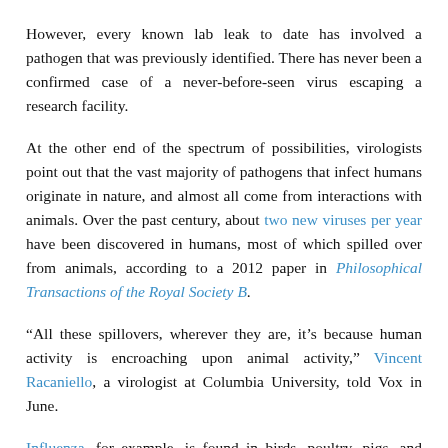However, every known lab leak to date has involved a pathogen that was previously identified. There has never been a confirmed case of a never-before-seen virus escaping a research facility.
At the other end of the spectrum of possibilities, virologists point out that the vast majority of pathogens that infect humans originate in nature, and almost all come from interactions with animals. Over the past century, about two new viruses per year have been discovered in humans, most of which spilled over from animals, according to a 2012 paper in Philosophical Transactions of the Royal Society B.
“All these spillovers, wherever they are, it’s because human activity is encroaching upon animal activity,” Vincent Racaniello, a virologist at Columbia University, told Vox in June.
Influenza, for example, is found in birds, poultry, pigs, and seals. HIV likely originated in chimpanzees. Measles has an ancestor in cattle.
In fact, another coronavirus, the 2003 SARS virus, was found to have